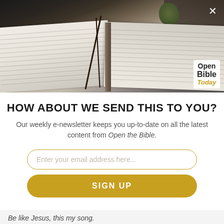[Figure (photo): Open Bible lying flat on a wooden surface with bookmarks, dark books in background and a plant, with 'Open Bible Today' logo overlay in bottom right corner]
HOW ABOUT WE SEND THIS TO YOU?
Our weekly e-newsletter keeps you up-to-date on all the latest content from Open the Bible.
Enter your email address here...
SIGN UP
Be like Jesus, this my song.